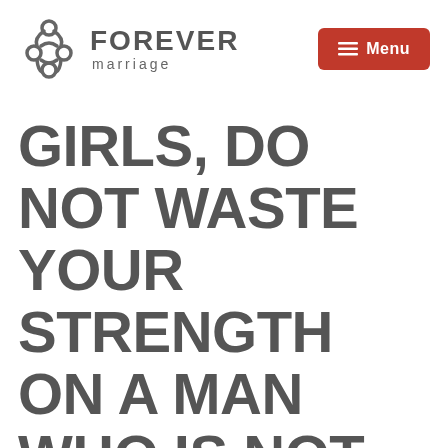[Figure (logo): Forever Marriage logo with interlocking knot/chain SVG icon and text 'FOREVER marriage']
GIRLS, DO NOT WASTE YOUR STRENGTH ON A MAN WHO IS NOT YET FINISHED BEING A BOY